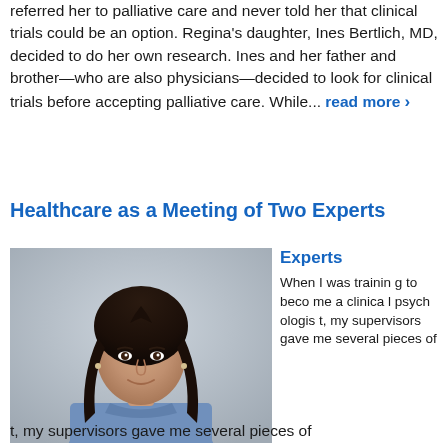referred her to palliative care and never told her that clinical trials could be an option. Regina's daughter, Ines Bertlich, MD, decided to do her own research. Ines and her father and brother—who are also physicians—decided to look for clinical trials before accepting palliative care. While... read more ›
Healthcare as a Meeting of Two Experts
[Figure (photo): Portrait photo of a young woman with long dark hair, wearing a blue button-up shirt, standing against a gray wall, smiling.]
When I was training to become a clinical psychologist, my supervisors gave me several pieces of